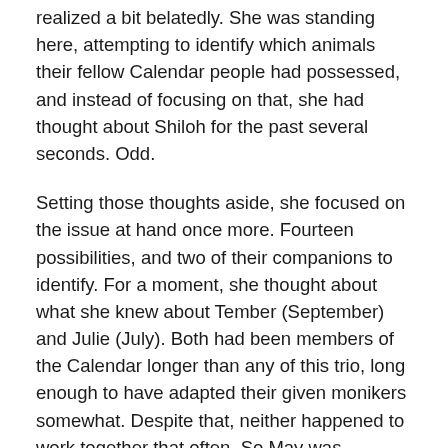realized a bit belatedly. She was standing here, attempting to identify which animals their fellow Calendar people had possessed, and instead of focusing on that, she had thought about Shiloh for the past several seconds. Odd.
Setting those thoughts aside, she focused on the issue at hand once more. Fourteen possibilities, and two of their companions to identify. For a moment, she thought about what she knew about Tember (September) and Julie (July). Both had been members of the Calendar longer than any of this trio, long enough to have adapted their given monikers somewhat. Despite that, neither happened to work together that often. So May was assuming they would have separated and chosen different animals to hide in.
“I know Tember,” April announced. “We hang out a lot. I’m